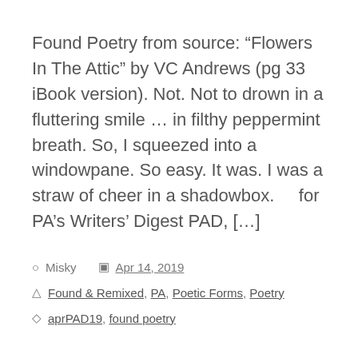Found Poetry from source: “Flowers In The Attic” by VC Andrews (pg 33 iBook version). Not. Not to drown in a fluttering smile … in filthy peppermint breath. So, I squeezed into a windowpane. So easy. It was. I was a straw of cheer in a shadowbox.     for PA’s Writers’ Digest PAD, […]
Misky   Apr 14, 2019
Found & Remixed, PA, Poetic Forms, Poetry
aprPAD19, found poetry